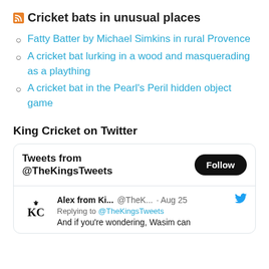Cricket bats in unusual places
Fatty Batter by Michael Simkins in rural Provence
A cricket bat lurking in a wood and masquerading as a plaything
A cricket bat in the Pearl's Peril hidden object game
King Cricket on Twitter
Tweets from @TheKingsTweets
Alex from Ki... @TheK... · Aug 25 Replying to @TheKingsTweets And if you're wondering, Wasim can